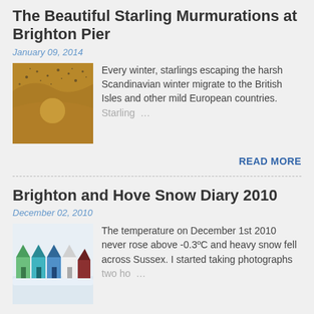The Beautiful Starling Murmurations at Brighton Pier
January 09, 2014
[Figure (photo): Photograph of starlings murmurating over a golden sky at Brighton Pier]
Every winter, starlings escaping the harsh Scandinavian winter migrate to the British Isles and other mild European countries. Starling …
READ MORE
Brighton and Hove Snow Diary 2010
December 02, 2010
[Figure (photo): Photograph of colorful beach huts covered in snow in Brighton and Hove]
The temperature on December 1st 2010 never rose above -0.3ºC and heavy snow fell across Sussex. I started taking photographs two ho …
READ MORE